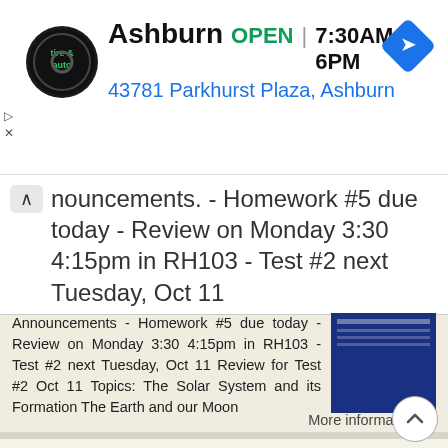[Figure (screenshot): Ashburn tire & auto shop ad banner with logo, OPEN status, hours 7:30AM-6PM, address 43781 Parkhurst Plaza Ashburn, and navigation icon]
Announcements. - Homework #5 due today - Review on Monday 3:30 4:15pm in RH103 - Test #2 next Tuesday, Oct 11
Announcements - Homework #5 due today - Review on Monday 3:30 4:15pm in RH103 - Test #2 next Tuesday, Oct 11 Review for Test #2 Oct 11 Topics: The Solar System and its Formation The Earth and our Moon
More information →
Astronomy 1 Fall Reminder: When/where does your observing session meet? [See from your TA.]